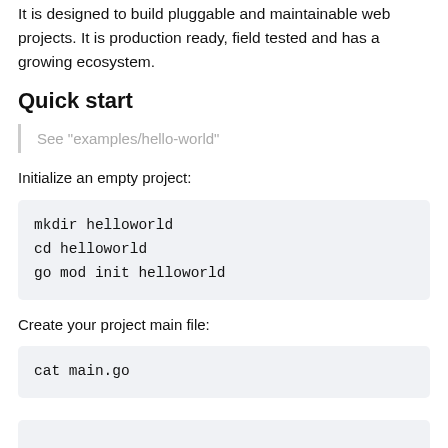It is designed to build pluggable and maintainable web projects. It is production ready, field tested and has a growing ecosystem.
Quick start
See "examples/hello-world"
Initialize an empty project:
mkdir helloworld
cd helloworld
go mod init helloworld
Create your project main file:
cat main.go